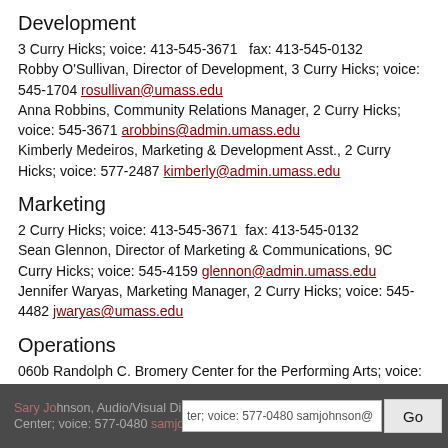Development
3 Curry Hicks; voice: 413-545-3671   fax: 413-545-0132
Robby O'Sullivan, Director of Development, 3 Curry Hicks; voice: 545-1704 rosullivan@umass.edu
Anna Robbins, Community Relations Manager, 2 Curry Hicks; voice: 545-3671 arobbins@admin.umass.edu
Kimberly Medeiros, Marketing & Development Asst., 2 Curry Hicks; voice: 577-2487 kimberly@admin.umass.edu
Marketing
2 Curry Hicks; voice: 413-545-3671  fax: 413-545-0132
Sean Glennon, Director of Marketing & Communications, 9C Curry Hicks; voice: 545-4159 glennon@admin.umass.edu
Jennifer Waryas, Marketing Manager, 2 Curry Hicks; voice: 545-4482 jwaryas@umass.edu
Operations
060b Randolph C. Bromery Center for the Performing Arts; voice: 413-577-0480  fax: 413-545-2018
Vacant,  Director of Operations, 4 Curry Hicks; voice: 545-1130
Sean Conlon, Operations Office Manager, 4 Curry Hicks; voice: 545-0192 sconlon@umass.edu
Sam Johnson, Audio/Visual Dir., 060b Bromery Center; voice: 577-0480 samjohnson@...umass.edu
Tom Kelleher, Stage Manager, 060b Bromery Center...